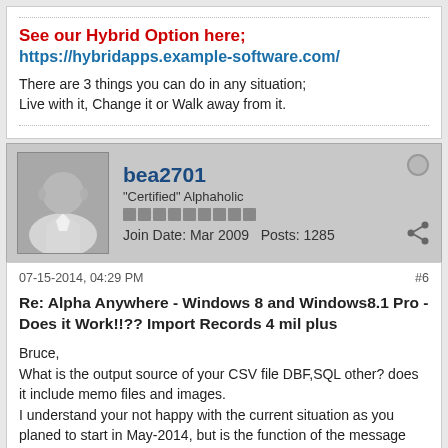See our Hybrid Option here;
https://hybridapps.example-software.com/
There are 3 things you can do in any situation;
Live with it, Change it or Walk away from it.
bea2701
"Certified" Alphaholic
Join Date: Mar 2009   Posts: 1285
07-15-2014, 04:29 PM   #6
Re: Alpha Anywhere - Windows 8 and Windows8.1 Pro - Does it Work!!?? Import Records 4 mil plus
Bruce,
What is the output source of your CSV file DBF,SQL other? does it include memo files and images.
I understand your not happy with the current situation as you planed to start in May-2014, but is the function of the message board to place your questions.
As Steve said in an earlier post put the structure in a post + any details that are needed to fix it. I know from migrations in the past